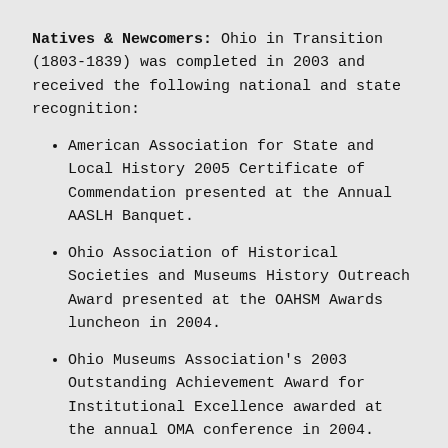Natives & Newcomers: Ohio in Transition (1803-1839) was completed in 2003 and received the following national and state recognition:
American Association for State and Local History 2005 Certificate of Commendation presented at the Annual AASLH Banquet.
Ohio Association of Historical Societies and Museums History Outreach Award presented at the OAHSM Awards luncheon in 2004.
Ohio Museums Association's 2003 Outstanding Achievement Award for Institutional Excellence awarded at the annual OMA conference in 2004.